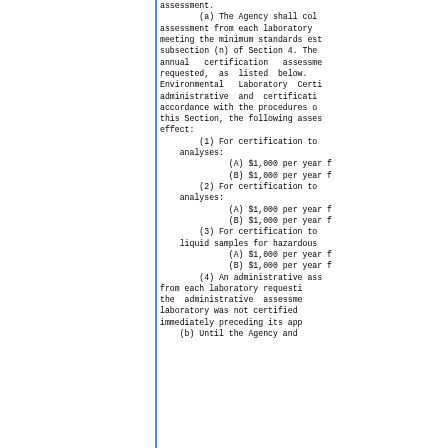assessment.
    (a) The Agency shall collect an annual certification assessment from each laboratory meeting the minimum standards established in subsection (n) of Section 4. The annual certification assessment requested, as listed below. Environmental Laboratory Certification administrative and certification accordance with the procedures of this Section, the following assessments are in effect:
    (1) For certification to perform analyses:
        (A) $1,000 per year f
        (B) $1,000 per year f
    (2) For certification to perform analyses:
        (A) $1,000 per year f
        (B) $1,000 per year f
    (3) For certification to analyze liquid samples for hazardous
        (A) $1,000 per year f
        (B) $1,000 per year f
    (4) An administrative assessment from each laboratory requesting the administrative assessment laboratory was not certified immediately preceding its application.
    (b) Until the Agency and